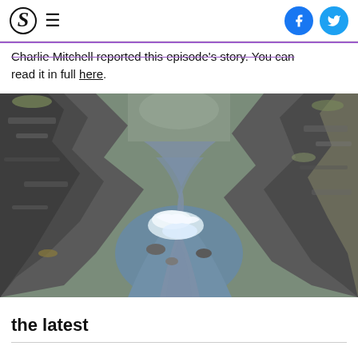S [logo] ≡ [hamburger menu] [Facebook icon] [Twitter icon]
Charlie Mitchell reported this episode's story. You can read it in full here.
[Figure (photo): A river flowing through a rocky canyon with white water rapids, surrounded by grey and brown rock faces with sparse vegetation.]
the latest